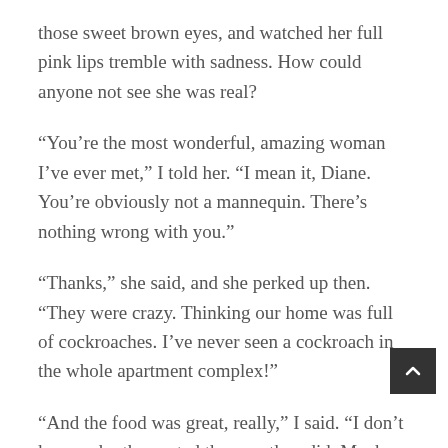those sweet brown eyes, and watched her full pink lips tremble with sadness. How could anyone not see she was real?
“You’re the most wonderful, amazing woman I’ve ever met,” I told her. “I mean it, Diane. You’re obviously not a mannequin. There’s nothing wrong with you.”
“Thanks,” she said, and she perked up then. “They were crazy. Thinking our home was full of cockroaches. I’ve never seen a cockroach in the whole apartment complex!”
“And the food was great, really,” I said. “I don’t know why they acted the way they did. Maybe it’s just jealousy. That what we have is special and what they have is, well…”